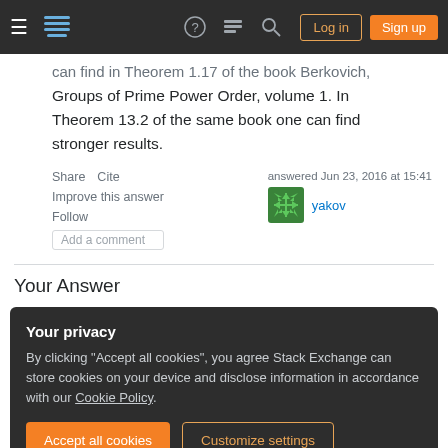Stack Exchange navigation bar with hamburger menu, logo, help, chat, search icons, Log in and Sign up buttons
can find in Theorem 1.17 of the book Berkovich, Groups of Prime Power Order, volume 1. In Theorem 13.2 of the same book one can find stronger results.
Share   Cite
Improve this answer
Follow
Add a comment
answered Jun 23, 2016 at 15:41
yakov
Your Answer
Your privacy
By clicking "Accept all cookies", you agree Stack Exchange can store cookies on your device and disclose information in accordance with our Cookie Policy.
Accept all cookies   Customize settings